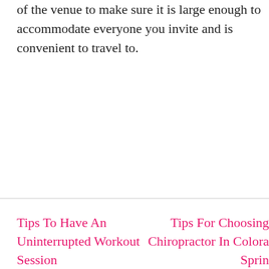of the venue to make sure it is large enough to accommodate everyone you invite and is convenient to travel to.
Tips To Have An Uninterrupted Workout Session
Tips For Choosing Chiropractor In Colorado Springs